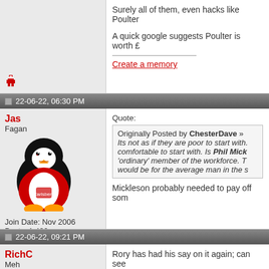Surely all of them, even hacks like Poulter
A quick google suggests Poulter is worth £
Create a memory
22-06-22, 06:30 PM
Jas
Fagan
Join Date: Nov 2006
Posts: 1,439
Quote:
Originally Posted by ChesterDave »
Its not as if they are poor to start with. comfortable to start with. Is Phil Mick 'ordinary' member of the workforce. T would be for the average man in the s
Mickleson probably needed to pay off som
22-06-22, 09:21 PM
RichC
Meh
Rory has had his say on it again; can see